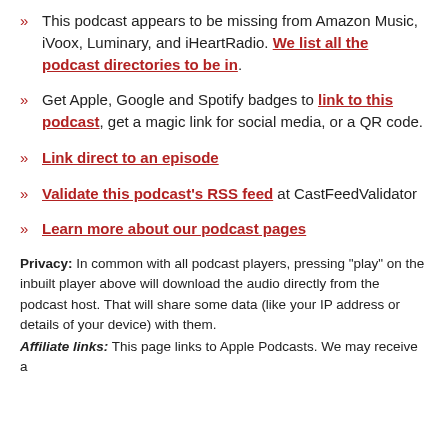This podcast appears to be missing from Amazon Music, iVoox, Luminary, and iHeartRadio. We list all the podcast directories to be in.
Get Apple, Google and Spotify badges to link to this podcast, get a magic link for social media, or a QR code.
Link direct to an episode
Validate this podcast's RSS feed at CastFeedValidator
Learn more about our podcast pages
Privacy: In common with all podcast players, pressing "play" on the inbuilt player above will download the audio directly from the podcast host. That will share some data (like your IP address or details of your device) with them.
Affiliate links: This page links to Apple Podcasts. We may receive a